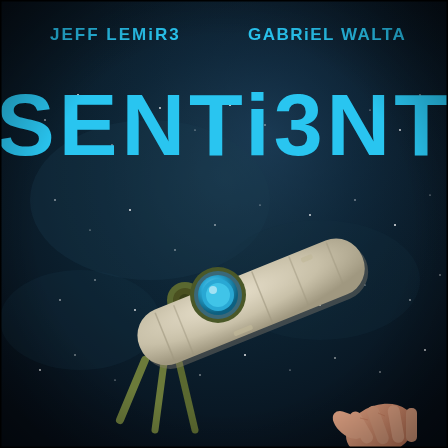[Figure (illustration): Comic book cover of 'SENTIENT' by Jeff Lemire and Gabriel Walta. Dark space background with stars. Large stylized title 'SENTIENT' in cyan/blue blocky letters with reversed E characters, displayed large across the upper-center of the cover. Author names 'JEFF LEMIRE' and 'GABRIEL WALTA' appear in smaller cyan block letters at the top. The lower portion shows a robotic arm or mechanical device (white elongated pod shape with a blue circular eye/lens, mounted on olive-green mechanical joints/struts) extending diagonally, with a human hand reaching up toward it from the bottom-right corner. The background is a deep dark teal-black space scene with scattered white stars and nebula clouds.]